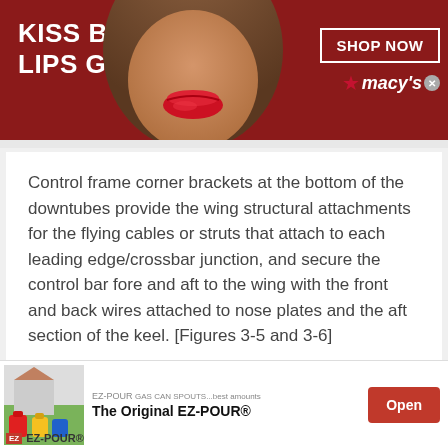[Figure (photo): Macy's advertisement banner: dark red background with woman's face wearing red lipstick, text 'KISS BORING LIPS GOODBYE', 'SHOP NOW' button in white border box, Macy's star logo]
Control frame corner brackets at the bottom of the downtubes provide the wing structural attachments for the flying cables or struts that attach to each leading edge/crossbar junction, and secure the control bar fore and aft to the wing with the front and back wires attached to nose plates and the aft section of the keel. [Figures 3-5 and 3-6]
[Figure (photo): Partial view of a hang glider wing structure showing yellow/green fabric and blue cables against a sky background]
[Figure (photo): EZ-POUR advertisement showing gas cans (red, yellow, blue) in a backyard setting. Text: 'The Original EZ-POUR®', Open button]